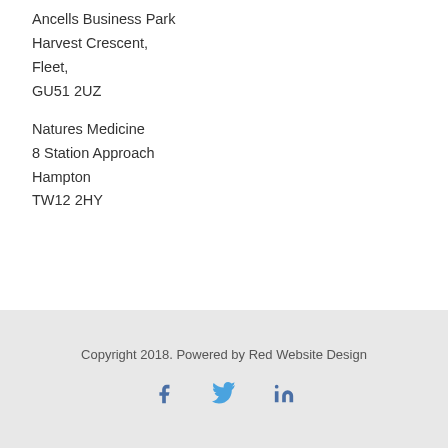Ancells Business Park
Harvest Crescent,
Fleet,
GU51 2UZ
Natures Medicine
8 Station Approach
Hampton
TW12 2HY
Copyright 2018. Powered by Red Website Design